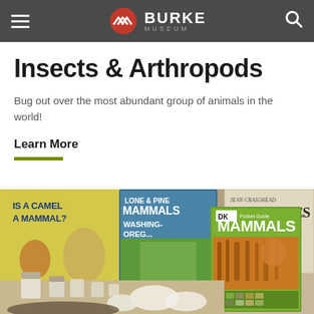Burke Museum
Insects & Arthropods
Bug out over the most abundant group of animals in the world!
Learn More
[Figure (photo): A collection of books about mammals on a table, including 'Is a Camel a Mammal?', 'Mammals of Washington and Oregon', 'Wolves', and a DK Pocket Guide 'Mammals', along with specimen jars and natural objects in the foreground.]